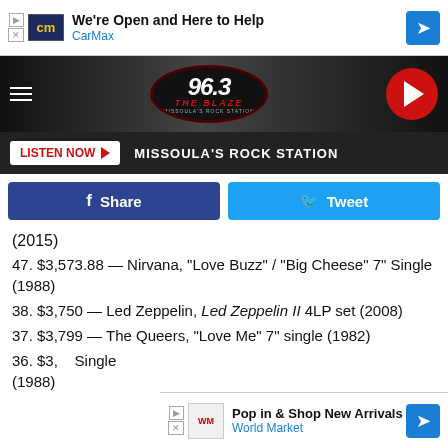[Figure (infographic): CarMax advertisement banner: CM logo, 'We're Open and Here to Help' text, CarMax label, blue diamond arrow icon]
[Figure (logo): 96.3 The Blaze radio station header with logo and red play button]
[Figure (infographic): Listen Now button with red play arrow and MISSOULA'S ROCK STATION text on dark bar]
[Figure (infographic): Facebook Share and Twitter Tweet social sharing buttons]
(2015)
47. $3,573.88 — Nirvana, "Love Buzz" / "Big Cheese" 7" Single (1988)
38. $3,750 — Led Zeppelin, Led Zeppelin II 4LP set (2008)
37. $3,799 — The Queers, "Love Me" 7" single (1982)
36. $3,... Single (1988)
[Figure (infographic): World Market advertisement banner: Pop in & Shop New Arrivals, World Market label, blue diamond arrow icon]